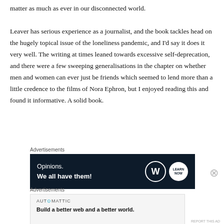matter as much as ever in our disconnected world.

Leaver has serious experience as a journalist, and the book tackles head on the hugely topical issue of the loneliness pandemic, and I’d say it does it very well. The writing at times leaned towards excessive self-deprecation, and there were a few sweeping generalisations in the chapter on whether men and women can ever just be friends which seemed to lend more than a little credence to the films of Nora Ephron, but I enjoyed reading this and found it informative. A solid book.
Advertisements
[Figure (other): Dark advertisement banner reading 'Opinions. We all have them!' with WordPress and Learn Now logos on the right.]
Advertisements
[Figure (other): Light advertisement banner for Automattic reading 'Build a better web and a better world.']